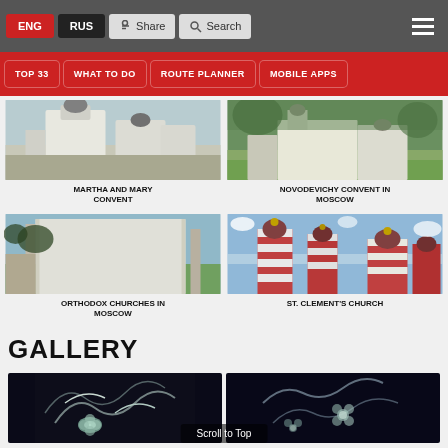ENG | RUS | Share | Search
[Figure (screenshot): Website navigation bar with ENG, RUS, Share, Search buttons and hamburger menu]
[Figure (infographic): Red navigation menu with buttons: TOP 33, WHAT TO DO, ROUTE PLANNER, MOBILE APPS]
[Figure (photo): Martha and Mary Convent - white cathedral building]
MARTHA AND MARY CONVENT
[Figure (photo): Novodevichy Convent in Moscow - green trees and white buildings]
NOVODEVICHY CONVENT IN MOSCOW
[Figure (photo): Orthodox Churches in Moscow - white monastery walls]
ORTHODOX CHURCHES IN MOSCOW
[Figure (photo): St. Clement's Church - red and white striped church towers]
ST. CLEMENT'S CHURCH
GALLERY
[Figure (photo): Decorative jewelry/art piece with floral motifs on dark background]
[Figure (photo): Decorative jewelry/art piece with flower motifs on dark background]
Scroll to Top